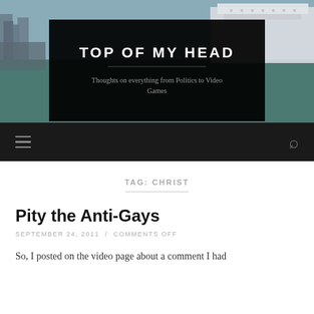[Figure (photo): Header photo of a harbor/waterfront with buildings and a large white cruise ship or ferry visible, overlaid with a dark semi-transparent black box containing the blog name and tagline.]
TOP OF MY HEAD
Thoughts on everything from Politics to Video Games
Navigation bar with hamburger menu icon and search icon
TAG: CHRIST
Pity the Anti-Gays
SEPTEMBER 24, 2011 / COMMENTS OFF
So, I posted on the video page about a comment I had